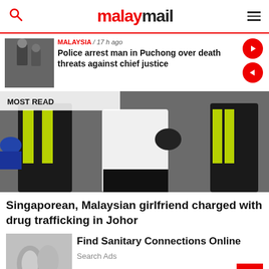malaymail
MALAYSIA / 17 h ago
Police arrest man in Puchong over death threats against chief justice
[Figure (photo): MOST READ banner image showing people with high-visibility vests walking on a road]
Singaporean, Malaysian girlfriend charged with drug trafficking in Johor
[Figure (photo): Advertisement image showing metallic plumbing/sanitary connections]
Find Sanitary Connections Online
Search Ads